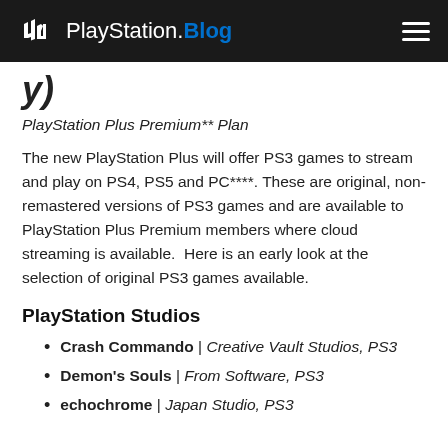PlayStation.Blog
y)
PlayStation Plus Premium** Plan
The new PlayStation Plus will offer PS3 games to stream and play on PS4, PS5 and PC****. These are original, non-remastered versions of PS3 games and are available to PlayStation Plus Premium members where cloud streaming is available.  Here is an early look at the selection of original PS3 games available.
PlayStation Studios
Crash Commando | Creative Vault Studios, PS3
Demon's Souls | From Software, PS3
echochrome | Japan Studio, PS3